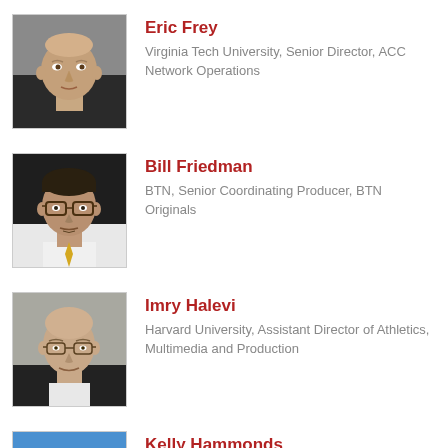[Figure (photo): Headshot of Eric Frey, a bald man in a dark jacket, gray background]
Eric Frey
Virginia Tech University, Senior Director, ACC Network Operations
[Figure (photo): Headshot of Bill Friedman, a man with glasses and dark hair, dark background]
Bill Friedman
BTN, Senior Coordinating Producer, BTN Originals
[Figure (photo): Headshot of Imry Halevi, a bald man smiling, gray background]
Imry Halevi
Harvard University, Assistant Director of Athletics, Multimedia and Production
[Figure (photo): Partial headshot of Kelly Hammonds, blue background]
Kelly Hammonds